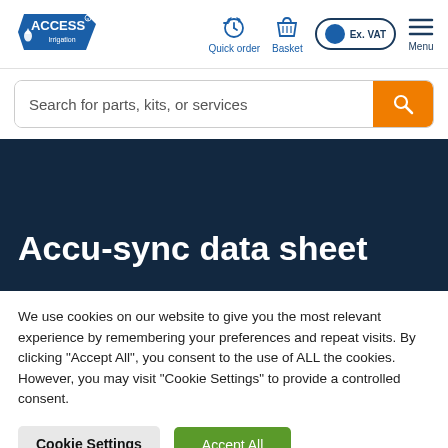[Figure (logo): Access Irrigation logo — blue pentagon badge shape with 'ACCESS' in white bold text and 'Irrigation' beneath, small water drop icon]
[Figure (screenshot): Navigation icons: Quick order (stopwatch icon), Basket (basket icon), Ex. VAT toggle button, Menu (hamburger icon)]
Search for parts, kits, or services
Accu-sync data sheet
We use cookies on our website to give you the most relevant experience by remembering your preferences and repeat visits. By clicking "Accept All", you consent to the use of ALL the cookies. However, you may visit "Cookie Settings" to provide a controlled consent.
Cookie Settings
Accept All